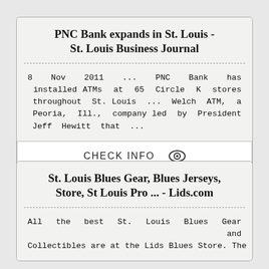PNC Bank expands in St. Louis - St. Louis Business Journal
8 Nov 2011 ... PNC Bank has installed ATMs at 65 Circle K stores throughout St. Louis ... Welch ATM, a Peoria, Ill., company led by President Jeff Hewitt that ...
CHECK INFO
St. Louis Blues Gear, Blues Jerseys, Store, St Louis Pro ... - Lids.com
All the best St. Louis Blues Gear and Collectibles are at the Lids Blues Store. The ...